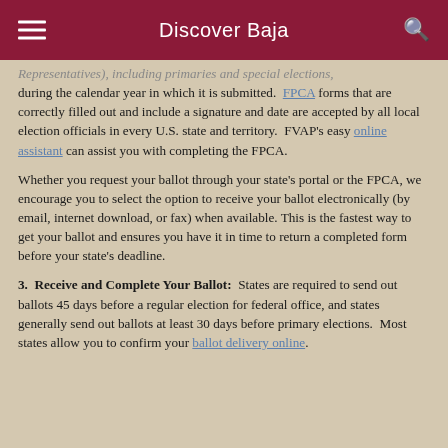Discover Baja
Representatives), including primaries and special elections, during the calendar year in which it is submitted. FPCA forms that are correctly filled out and include a signature and date are accepted by all local election officials in every U.S. state and territory. FVAP's easy online assistant can assist you with completing the FPCA.
Whether you request your ballot through your state's portal or the FPCA, we encourage you to select the option to receive your ballot electronically (by email, internet download, or fax) when available. This is the fastest way to get your ballot and ensures you have it in time to return a completed form before your state's deadline.
3. Receive and Complete Your Ballot: States are required to send out ballots 45 days before a regular election for federal office, and states generally send out ballots at least 30 days before primary elections. Most states allow you to confirm your ballot delivery online.